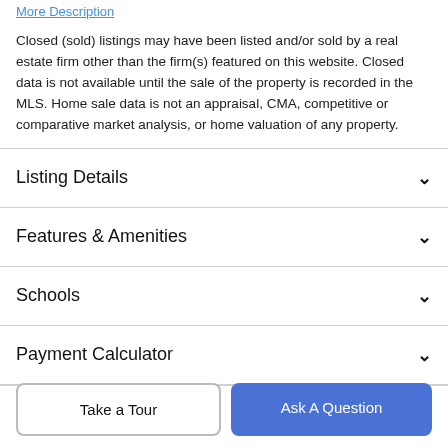More Description
Closed (sold) listings may have been listed and/or sold by a real estate firm other than the firm(s) featured on this website. Closed data is not available until the sale of the property is recorded in the MLS. Home sale data is not an appraisal, CMA, competitive or comparative market analysis, or home valuation of any property.
Listing Details
Features & Amenities
Schools
Payment Calculator
Contact Agent
Take a Tour
Ask A Question